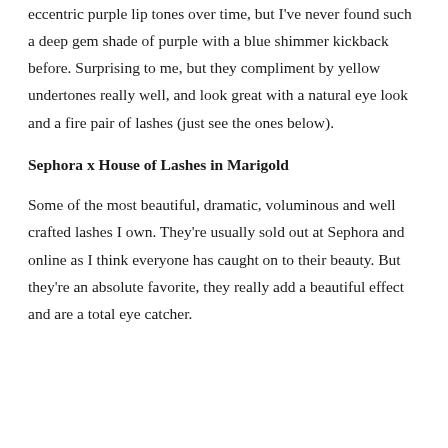eccentric purple lip tones over time, but I've never found such a deep gem shade of purple with a blue shimmer kickback before. Surprising to me, but they compliment by yellow undertones really well, and look great with a natural eye look and a fire pair of lashes (just see the ones below).
Sephora x House of Lashes in Marigold
Some of the most beautiful, dramatic, voluminous and well crafted lashes I own. They're usually sold out at Sephora and online as I think everyone has caught on to their beauty. But they're an absolute favorite, they really add a beautiful effect and are a total eye catcher.